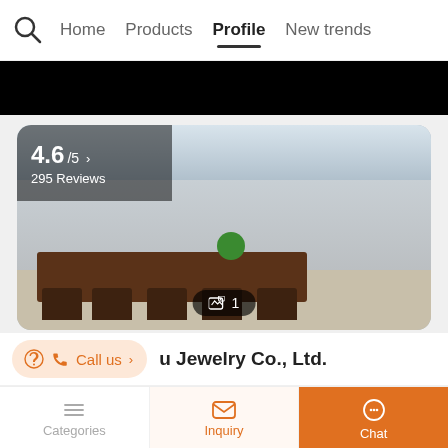Home  Products  Profile  New trends
[Figure (photo): Interior of jewelry showroom with display shelves and a conference table with chairs. Rating overlay shows 4.6/5 and 295 Reviews. Image count badge shows 1.]
Call us
u Jewelry Co., Ltd.
Categories  Inquiry  Chat